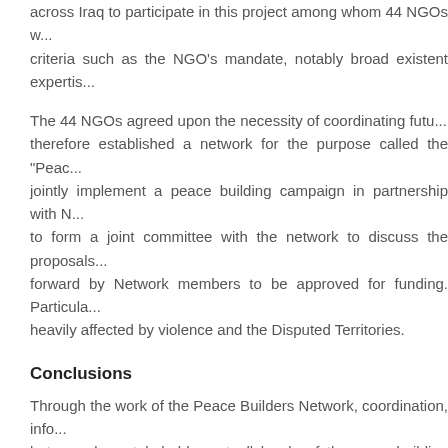across Iraq to participate in this project among whom 44 NGOs were selected based on criteria such as the NGO's mandate, notably broad existent expertise...
The 44 NGOs agreed upon the necessity of coordinating future work and therefore established a network for the purpose called the "Peace... jointly implement a peace building campaign in partnership with N... to form a joint committee with the network to discuss the proposals forward by Network members to be approved for funding. Particularly heavily affected by violence and the Disputed Territories.
Conclusions
Through the work of the Peace Builders Network, coordination, info... between key stakeholders at all levels of the peacebuilding process and youth activists created a written database of reports on exis... challenges at an individual province level. They also established enduring forum, and unified vision for the coordination of peacebu... and provincial lines used during the program but maintained bey... evident in structures as elaborate as the 18-province wide, 44 Network structure and as simple as collaborative Facebook groups provinces working under unified slogans, established during campaign.
Vertically, the output of community-oriented Civil Society participa...